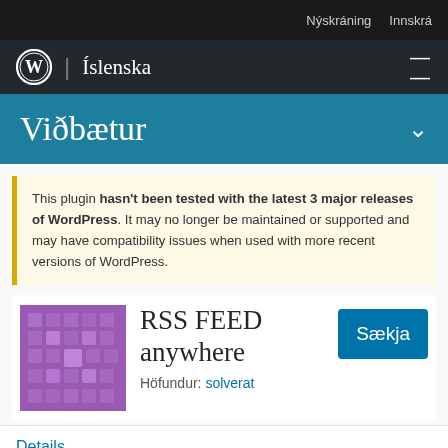Nýskráning  Innskrá
Íslenska
Viðbætur
This plugin hasn't been tested with the latest 3 major releases of WordPress. It may no longer be maintained or supported and may have compatibility issues when used with more recent versions of WordPress.
[Figure (logo): RSS FEED anywhere plugin logo — purple square with lighter purple square grid pattern]
RSS FEED anywhere
Höfundur: solverat
Details